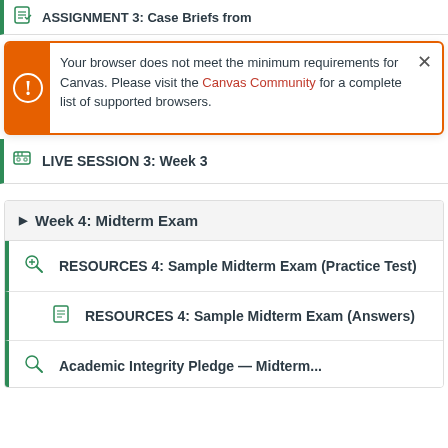ASSIGNMENT 3: Case Briefs from
[Figure (screenshot): Browser warning notification box: 'Your browser does not meet the minimum requirements for Canvas. Please visit the Canvas Community for a complete list of supported browsers.']
LIVE SESSION 3: Week 3
Week 4: Midterm Exam
RESOURCES 4: Sample Midterm Exam (Practice Test)
RESOURCES 4: Sample Midterm Exam (Answers)
Academic Integrity Pledge — Midterm...